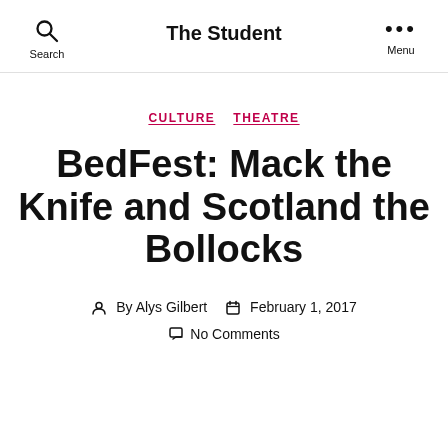The Student
CULTURE  THEATRE
BedFest: Mack the Knife and Scotland the Bollocks
By Alys Gilbert  February 1, 2017  No Comments